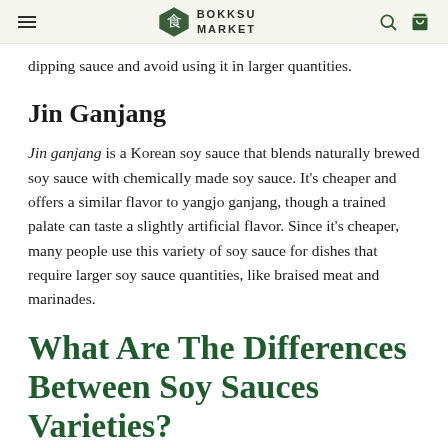BOKKSU MARKET
dipping sauce and avoid using it in larger quantities.
Jin Ganjang
Jin ganjang is a Korean soy sauce that blends naturally brewed soy sauce with chemically made soy sauce. It's cheaper and offers a similar flavor to yangjo ganjang, though a trained palate can taste a slightly artificial flavor. Since it's cheaper, many people use this variety of soy sauce for dishes that require larger soy sauce quantities, like braised meat and marinades.
What Are The Differences Between Soy Sauces Varieties?